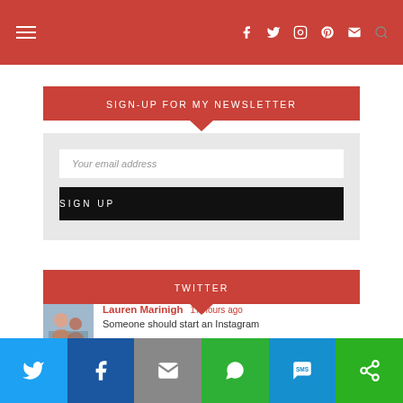Navigation header with hamburger menu and social icons (Facebook, Twitter, Instagram, Pinterest, Mail, Search)
SIGN-UP FOR MY NEWSLETTER
Your email address
SIGN UP
TWITTER
Lauren Marinigh  17 hours ago
Someone should start an Instagram
Share bar: Twitter, Facebook, Email, WhatsApp, SMS, Other